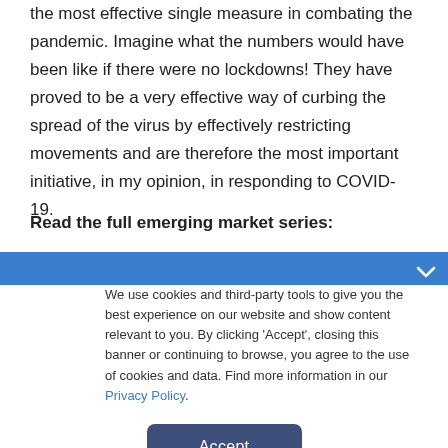the most effective single measure in combating the pandemic. Imagine what the numbers would have been like if there were no lockdowns! They have proved to be a very effective way of curbing the spread of the virus by effectively restricting movements and are therefore the most important initiative, in my opinion, in responding to COVID-19.
Read the full emerging market series:
We use cookies and third-party tools to give you the best experience on our website and show content relevant to you. By clicking 'Accept', closing this banner or continuing to browse, you agree to the use of cookies and data. Find more information in our Privacy Policy.